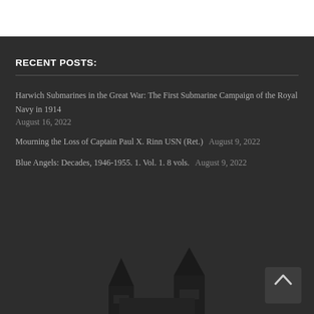RECENT POSTS:
Harwich Submarines in the Great War: The First Submarine Campaign of the Royal Navy in 1914 August 16, 2022
Mourning the Loss of Captain Paul X. Rinn USN (Ret.) August 9, 2022
Blue Angels: Decades, 1946-1955. 1. Vol. 1. 8 vols. August 9, 2022
[Figure (illustration): Dark silhouette of church steeples against the dark background at the bottom of the page. A back-to-top arrow button is visible in the lower right corner.]